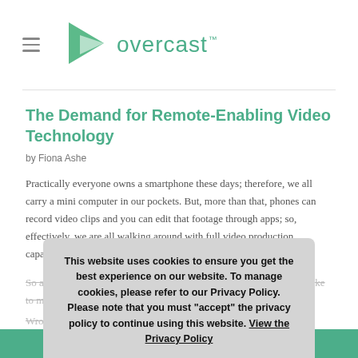overcast
The Demand for Remote-Enabling Video Technology
by Fiona Ashe
Practically everyone owns a smartphone these days; therefore, we all carry a mini computer in our pockets. But, more than that, phones can record video clips and you can edit that footage through apps; so, effectively, we are all walking around with full video production capabilities.
So armed with this portable video technology, it must be a place of cake to make professional-looking videos, right?
Wrong!
This website uses cookies to ensure you get the best experience on our website. To manage cookies, please refer to our Privacy Policy. Please note that you must "accept" the privacy policy to continue using this website. View the Privacy Policy
Accept